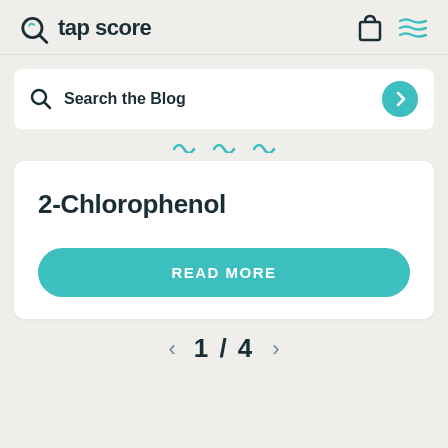tap score
Search the Blog
2-Chlorophenol
READ MORE
1 / 4